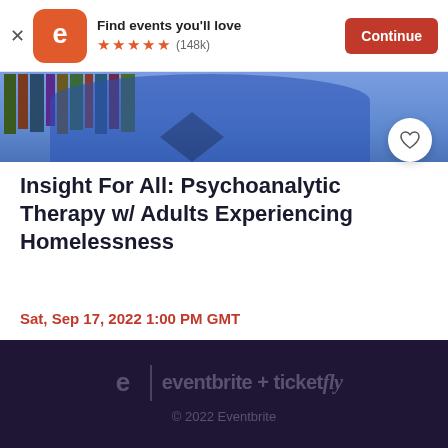[Figure (screenshot): Eventbrite app banner with logo, 'Find events you'll love', 5 star rating (148k), and Continue button]
[Figure (photo): Partial photo of a person in blue clothing in front of bookshelves with a heart/favorite button overlay]
Insight For All: Psychoanalytic Therapy w/ Adults Experiencing Homelessness
Sat, Sep 17, 2022 1:00 PM GMT
US$10 - US$60
eventbrite + ticketfly
© 2022 Eventbrite